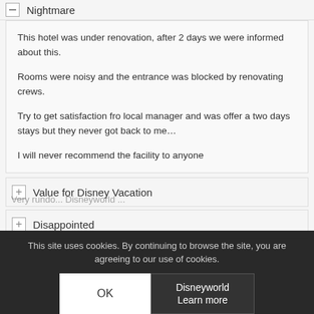Nightmare
This hotel was under renovation, after 2 days we were informed about this.

Rooms were noisy and the entrance was blocked by renovating crews.

Try to get satisfaction fro local manager and was offer a two days stays but they never got back to me…

I will never recommend the facility to anyone
Value for Disney Vacation
Disappointed
Very rundo... Disneyworld ...
This site uses cookies. By continuing to browse the site, you are agreeing to our use of cookies.